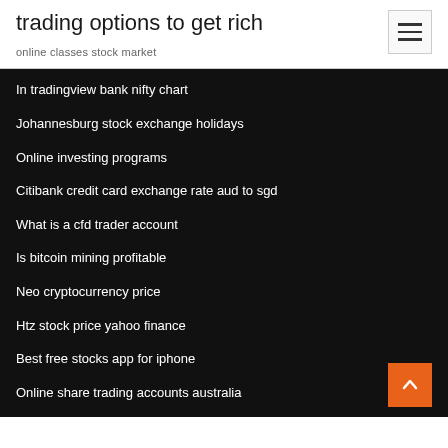trading options to get rich
online classes stock market
In tradingview bank nifty chart
Johannesburg stock exchange holidays
Online investing programs
Citibank credit card exchange rate aud to sgd
What is a cfd trader account
Is bitcoin mining profitable
Neo cryptocurrency price
Htz stock price yahoo finance
Best free stocks app for iphone
Online share trading accounts australia